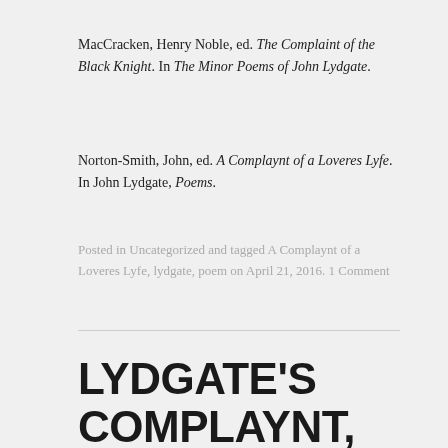MacCracken, Henry Noble, ed. The Complaint of the Black Knight. In The Minor Poems of John Lydgate.
Norton-Smith, John, ed. A Complaynt of a Loveres Lyfe. In John Lydgate, Poems.
Posted in Uncategorized and tagged A Complaynt of a Loveres Lyfe, lydgate, poem on April 21, 2016. 1 Comment
LYDGATE'S COMPLAYNT, CONTINUED: STII...